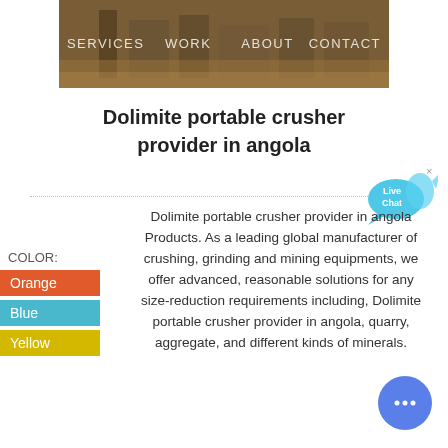[Figure (photo): Industrial/mining facility interior with muddy ground and metal structures]
SERVICES   WORK   ABOUT   CONTACT
Dolimite portable crusher provider in angola
[Figure (other): Live Chat bubble widget in blue/cyan]
COLOR:
Orange
Blue
Yellow
Dolimite portable crusher provider in angola Products. As a leading global manufacturer of crushing, grinding and mining equipments, we offer advanced, reasonable solutions for any size-reduction requirements including, Dolimite portable crusher provider in angola, quarry, aggregate, and different kinds of minerals.
[Figure (other): Blue circular chat button with ellipsis icon]